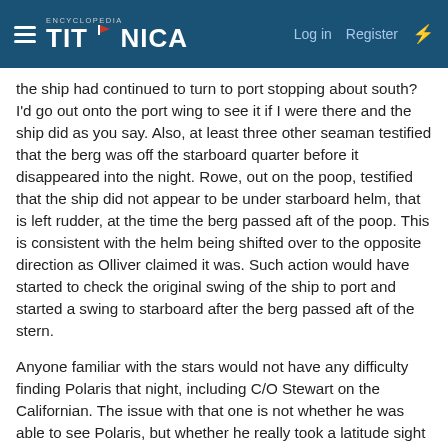Encyclopedia Titanica — Log in  Register
the ship had continued to turn to port stopping about south? I'd go out onto the port wing to see it if I were there and the ship did as you say. Also, at least three other seaman testified that the berg was off the starboard quarter before it disappeared into the night. Rowe, out on the poop, testified that the ship did not appear to be under starboard helm, that is left rudder, at the time the berg passed aft of the poop. This is consistent with the helm being shifted over to the opposite direction as Olliver claimed it was. Such action would have started to check the original swing of the ship to port and started a swing to starboard after the berg passed aft of the stern.
Anyone familiar with the stars would not have any difficulty finding Polaris that night, including C/O Stewart on the Californian. The issue with that one is not whether he was able to see Polaris, but whether he really took a latitude sight as claimed.
Later,